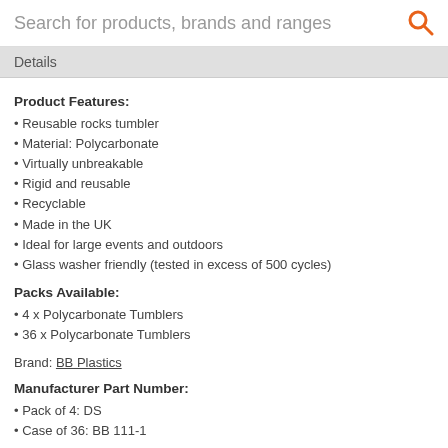Search for products, brands and ranges
Details
Product Features:
Reusable rocks tumbler
Material: Polycarbonate
Virtually unbreakable
Rigid and reusable
Recyclable
Made in the UK
Ideal for large events and outdoors
Glass washer friendly (tested in excess of 500 cycles)
Packs Available:
4 x Polycarbonate Tumblers
36 x Polycarbonate Tumblers
Brand: BB Plastics
Manufacturer Part Number:
Pack of 4: DS
Case of 36: BB 111-1
Barcode:
Pack of 4: 5055736997785